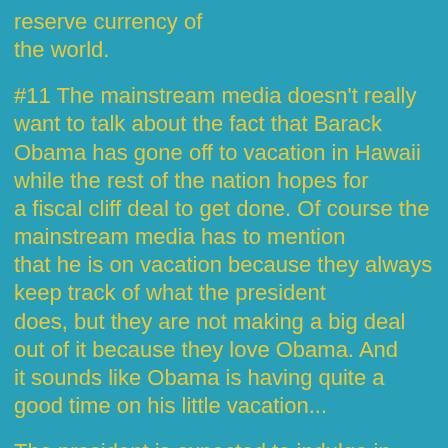reserve currency of the world.
#11 The mainstream media doesn't really want to talk about the fact that Barack Obama has gone off to vacation in Hawaii while the rest of the nation hopes for a fiscal cliff deal to get done. Of course the mainstream media has to mention that he is on vacation because they always keep track of what the president does, but they are not making a big deal out of it because they love Obama. And it sounds like Obama is having quite a good time on his little vacation...
The president is expected to indulge in some of his favorite pastimes on the island where he was born and raised: golf, an expedition for the local treat 'shave ice,' and an evening out with family and friends. He hit the links at the